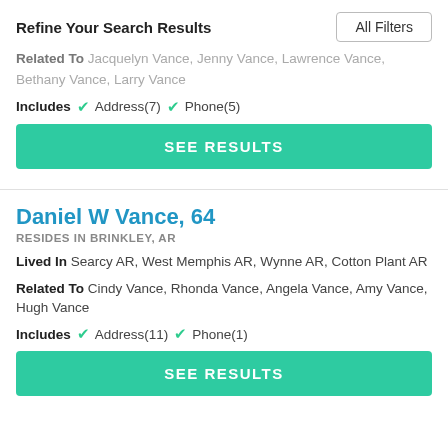Refine Your Search Results
Related To Jacquelyn Vance, Jenny Vance, Lawrence Vance, Bethany Vance, Larry Vance
Includes ✓ Address(7) ✓ Phone(5)
SEE RESULTS
Daniel W Vance, 64
RESIDES IN BRINKLEY, AR
Lived In Searcy AR, West Memphis AR, Wynne AR, Cotton Plant AR
Related To Cindy Vance, Rhonda Vance, Angela Vance, Amy Vance, Hugh Vance
Includes ✓ Address(11) ✓ Phone(1)
SEE RESULTS